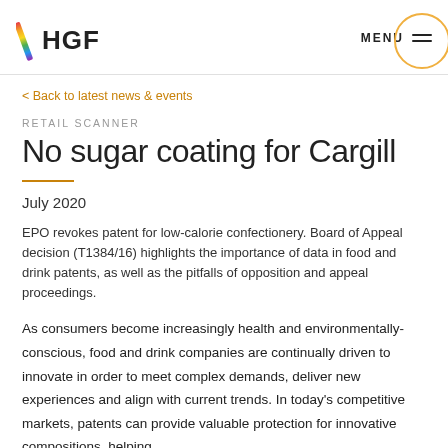HGF | MENU
< Back to latest news & events
RETAIL SCANNER
No sugar coating for Cargill
July 2020
EPO revokes patent for low-calorie confectionery. Board of Appeal decision (T1384/16) highlights the importance of data in food and drink patents, as well as the pitfalls of opposition and appeal proceedings.
As consumers become increasingly health and environmentally-conscious, food and drink companies are continually driven to innovate in order to meet complex demands, deliver new experiences and align with current trends. In today's competitive markets, patents can provide valuable protection for innovative compositions, helping